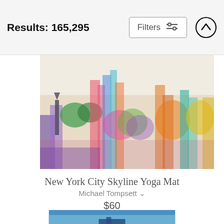Results: 165,295
Filters
[Figure (illustration): Colorful watercolor painting of New York City skyline with buildings and Statue of Liberty in vibrant multicolored hues]
New York City Skyline Yoga Mat
Michael Tompsett ∨
$60
[Figure (photo): Partial view of Empire State Building at dusk/twilight with blue sky background]